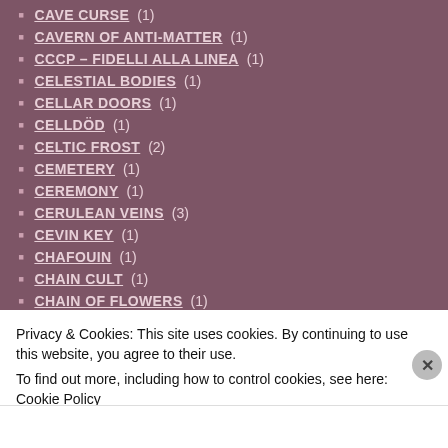CAVE CURSE (1)
CAVERN OF ANTI-MATTER (1)
CCCP – FIDELLI ALLA LINEA (1)
CELESTIAL BODIES (1)
CELLAR DOORS (1)
CELLDÖD (1)
CELTIC FROST (2)
CEMETERY (1)
CEREMONY (1)
CERULEAN VEINS (3)
CEVIN KEY (1)
CHAFOUIN (1)
CHAIN CULT (1)
CHAIN OF FLOWERS (1)
CHAINLESS (1)
CHAMBER (1)
Privacy & Cookies: This site uses cookies. By continuing to use this website, you agree to their use.
To find out more, including how to control cookies, see here: Cookie Policy
Close and accept